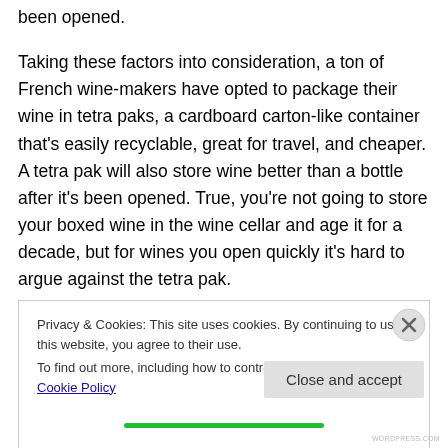been opened.

Taking these factors into consideration, a ton of French wine-makers have opted to package their wine in tetra paks, a cardboard carton-like container that's easily recyclable, great for travel, and cheaper. A tetra pak will also store wine better than a bottle after it's been opened. True, you're not going to store your boxed wine in the wine cellar and age it for a decade, but for wines you open quickly it's hard to argue against the tetra pak.
Privacy & Cookies: This site uses cookies. By continuing to use this website, you agree to their use.
To find out more, including how to control cookies, see here: Cookie Policy